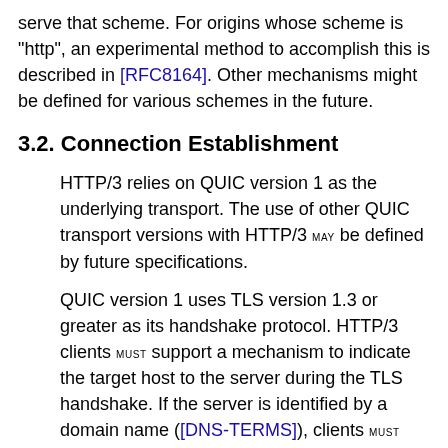serve that scheme. For origins whose scheme is "http", an experimental method to accomplish this is described in [RFC8164]. Other mechanisms might be defined for various schemes in the future.
3.2. Connection Establishment
HTTP/3 relies on QUIC version 1 as the underlying transport. The use of other QUIC transport versions with HTTP/3 MAY be defined by future specifications.
QUIC version 1 uses TLS version 1.3 or greater as its handshake protocol. HTTP/3 clients MUST support a mechanism to indicate the target host to the server during the TLS handshake. If the server is identified by a domain name ([DNS-TERMS]), clients MUST send the Server Name Indication (SNI; [RFC6066]) TLS extension unless an alternative mechanism to indicate the target host is used.